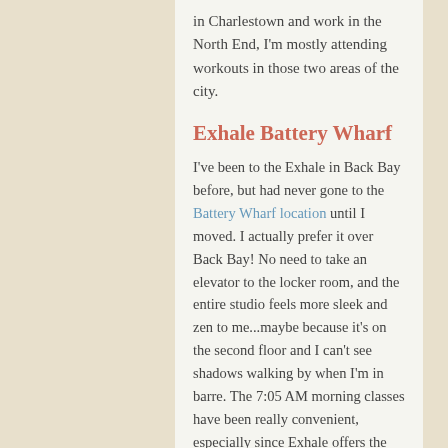in Charlestown and work in the North End, I'm mostly attending workouts in those two areas of the city.
Exhale Battery Wharf
I've been to the Exhale in Back Bay before, but had never gone to the Battery Wharf location until I moved. I actually prefer it over Back Bay! No need to take an elevator to the locker room, and the entire studio feels more sleek and zen to me...maybe because it's on the second floor and I can't see shadows walking by when I'm in barre. The 7:05 AM morning classes have been really convenient, especially since Exhale offers the nicest locker rooms I've ever been in, complete with provided robes and shower flip flops (it's SO great not to pack those). I've